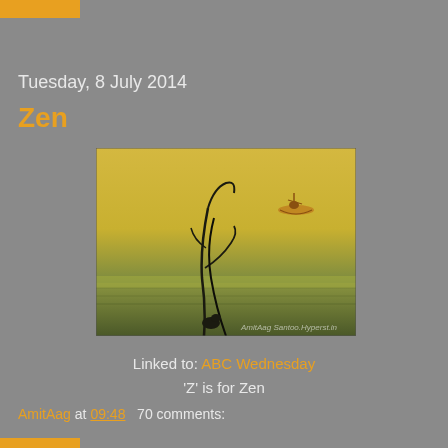Tuesday, 8 July 2014
Zen
[Figure (photo): A serene water scene at golden hour: tall dark reeds in the foreground, a small boat with a person in the upper right, calm water reflecting golden and green hues. Watermark text visible at bottom right.]
Linked to: ABC Wednesday
'Z' is for Zen
AmitAag at 09:48   70 comments: